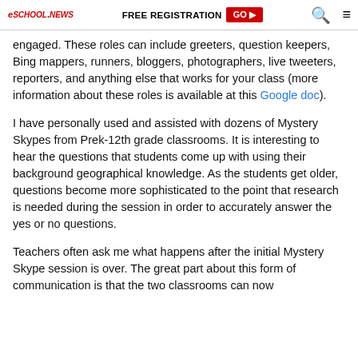eSchool News | FREE REGISTRATION GO ▶ 🔍 ≡
engaged. These roles can include greeters, question keepers, Bing mappers, runners, bloggers, photographers, live tweeters, reporters, and anything else that works for your class (more information about these roles is available at this Google doc).
I have personally used and assisted with dozens of Mystery Skypes from Prek-12th grade classrooms. It is interesting to hear the questions that students come up with using their background geographical knowledge. As the students get older, questions become more sophisticated to the point that research is needed during the session in order to accurately answer the yes or no questions.
Teachers often ask me what happens after the initial Mystery Skype session is over. The great part about this form of communication is that the two classrooms can now